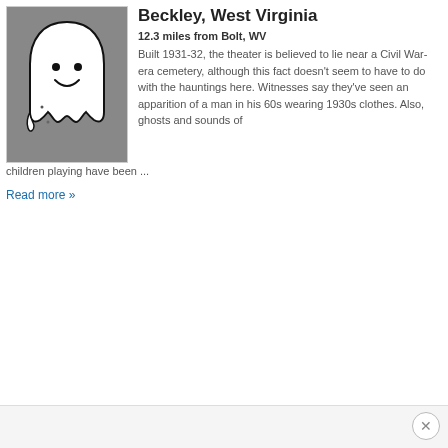[Figure (illustration): Ghost illustration: cartoon-style white ghost with smiley face on gray square background]
Beckley, West Virginia
12.3 miles from Bolt, WV
Built 1931-32, the theater is believed to lie near a Civil War-era cemetery, although this fact doesn't seem to have to do with the hauntings here. Witnesses say they've seen an apparition of a man in his 60s wearing 1930s clothes. Also, ghosts and sounds of children playing have been ...
Read more »